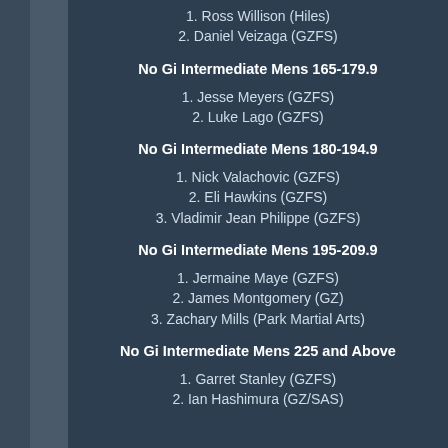1. Ross Willison (Hiles)
2. Daniel Veizaga (GZFS)
No Gi Intermediate Mens 165-179.9
1. Jesse Meyers (GZFS)
2. Luke Lago (GZFS)
No Gi Intermediate Mens 180-194.9
1. Nick Valachovic (GZFS)
2. Eli Hawkins (GZFS)
3. Vladimir Jean Philippe (GZFS)
No Gi Intermediate Mens 195-209.9
1. Jermaine Maye (GZFS)
2. James Montgomery (GZ)
3. Zachary Mills (Park Martial Arts)
No Gi Intermediate Mens 225 and Above
1. Garret Stanley (GZFS)
2. Ian Hashimura (GZ/SAS)